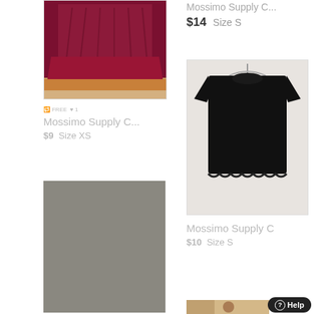[Figure (photo): Dark maroon/burgundy pleated dress or skirt on a hanger, photographed against a light wall with orange trim at bottom]
🔁 FREE ♥ 1
Mossimo Supply C...
$9  Size XS
[Figure (photo): Gray placeholder rectangle, no image loaded]
Mossimo Supply C...
$14  Size S
[Figure (photo): Black short-sleeve t-shirt on a hanger against a white door background]
Mossimo Supply C
$10  Size S
[Figure (photo): Partial photo showing a person taking a mirror selfie]
⓪ Help